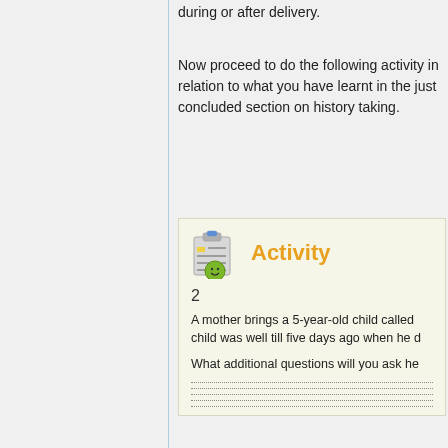during or after delivery.
Now proceed to do the following activity in relation to what you have learnt in the just concluded section on history taking.
Activity
2
A mother brings a 5-year-old child called child was well till five days ago when he d
What additional questions will you ask he
...................................................
...................................................
...................................................
...................................................
...................................................